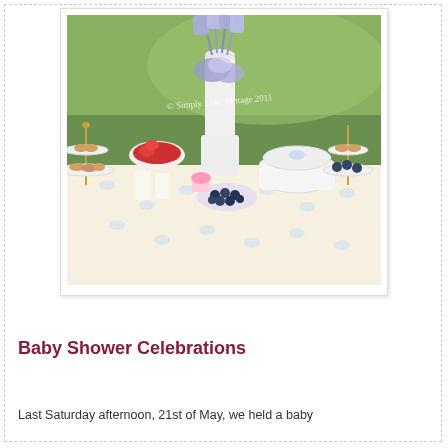[Figure (photo): Outdoor garden baby shower table spread with lavender/purple flower centerpiece in white vase, tiered cake stands with scones, bowls of strawberries, blueberries, cream, and various desserts on a blue and white floral tablecloth. Watermark reads '© Simply Love Vintage 2011'. Photo is presented with a white border like a printed photograph.]
Baby Shower Celebrations
Last Saturday afternoon, 21st of May, we held a baby